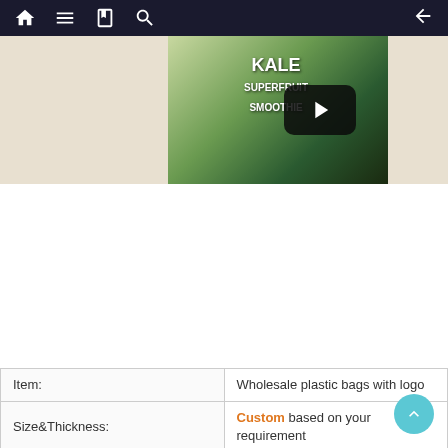Navigation bar with home, menu, book, search, and back icons
[Figure (photo): Video thumbnail showing a Kale Superfruit Smoothie packaging bag with a play button overlay]
| Field | Value |
| --- | --- |
| Item: | Wholesale plastic bags with logo |
| Size&Thickness: | Custom based on your requirement |
| Ink type: | Eco-friendly Food Grade Soy Ink |
| Feature : | 1).Safety Food Grade material & Perfect Printing |
| Feature : | 2).Great to prevent leakage, excellent Moiseture-Proof |
| Feature : | 3).Strong sealing Bottom & Durable Ziplock |
| Material: | PET/AL/PE, PET/PE, BOPP/Kraft Paper/PE, etc |